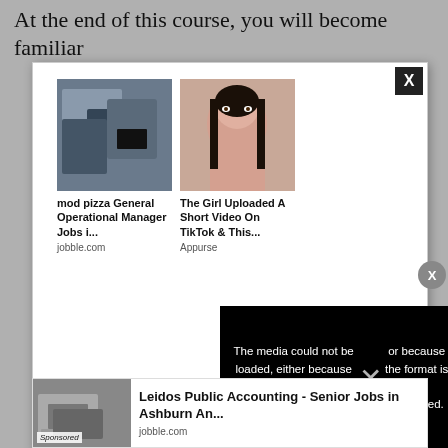At the end of this course, you will become familiar
[Figure (screenshot): Modal popup with two advertisement cards: 'mod pizza General Operational Manager Jobs i...' from jobble.com (showing office/work photo), and 'The Girl Uploaded A Short Video On TikTok & This...' from Appurse (showing a young woman's face). A close button 'X' is in the top right corner. Below the cards is a black video error overlay saying 'The media could not be loaded, either because the server or network failed or because the format is not supported.' with a large X mark. A floating X button appears on the right side.]
[Figure (screenshot): Bottom advertisement bar: 'Leidos Public Accounting - Senior Jobs in Ashburn An...' from jobble.com, with a laptop photo on the left labeled 'Sponsored'.]